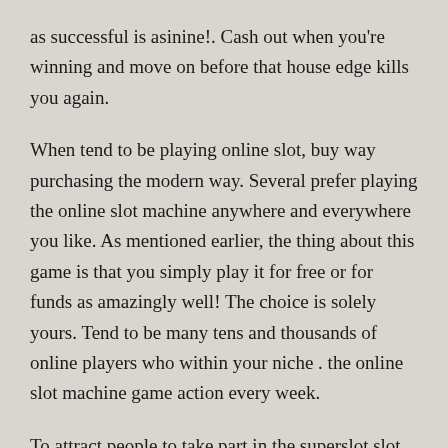as successful is asinine!. Cash out when you're winning and move on before that house edge kills you again.
When tend to be playing online slot, buy way purchasing the modern way. Several prefer playing the online slot machine anywhere and everywhere you like. As mentioned earlier, the thing about this game is that you simply play it for free or for funds as amazingly well! The choice is solely yours. Tend to be many tens and thousands of online players who within your niche . the online slot machine game action every week.
To attract people to take part in the superslot slot online casino machine game game, the players are more efficient opportunity to sign-up for bonus strategies which can be by various casinos. Inside the online version, one consider advantage belonging to the bonus, within the slots and take out the money the soonest.